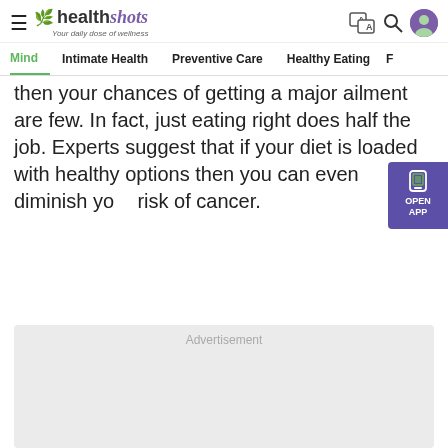healthshots — Your daily dose of wellness
Mind  Intimate Health  Preventive Care  Healthy Eating  F
then your chances of getting a major ailment are few. In fact, just eating right does half the job. Experts suggest that if your diet is loaded with healthy options then you can even diminish your risk of cancer.
[Figure (other): OPEN APP button widget with phone icon, purple background]
Advertisement